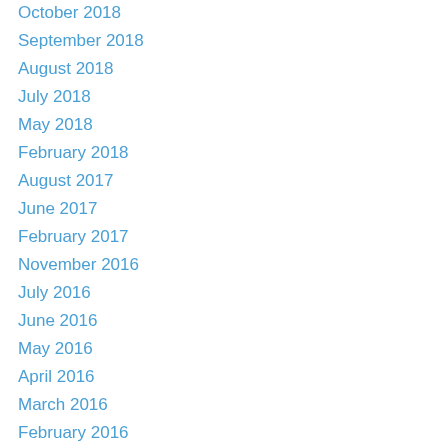October 2018
September 2018
August 2018
July 2018
May 2018
February 2018
August 2017
June 2017
February 2017
November 2016
July 2016
June 2016
May 2016
April 2016
March 2016
February 2016
October 2015
September 2015
June 2015
December 2014